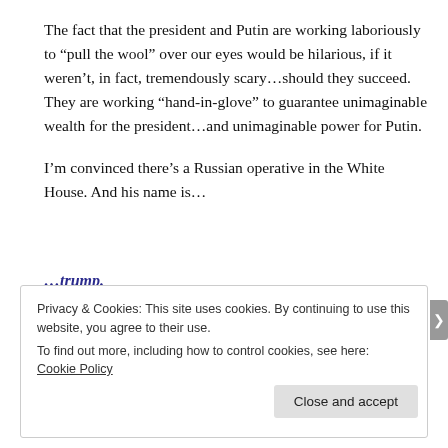The fact that the president and Putin are working laboriously to “pull the wool” over our eyes would be hilarious, if it weren’t, in fact, tremendously scary…should they succeed. They are working “hand-in-glove” to guarantee unimaginable wealth for the president…and unimaginable power for Putin.
I’m convinced there’s a Russian operative in the White House. And his name is…
…trump.
Privacy & Cookies: This site uses cookies. By continuing to use this website, you agree to their use.
To find out more, including how to control cookies, see here: Cookie Policy